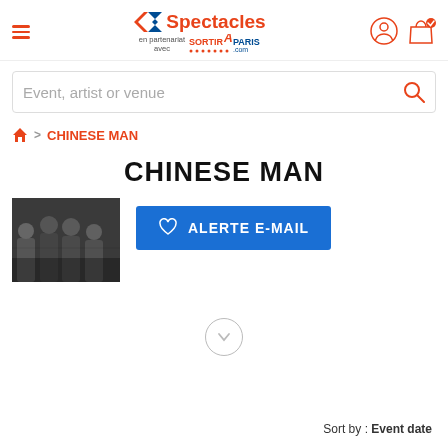Carrefour Spectacles en partenariat avec SortirAParis.com
Event, artist or venue
CHINESE MAN
CHINESE MAN
[Figure (photo): Group photo of Chinese Man band members]
ALERTE E-MAIL
Sort by : Event date